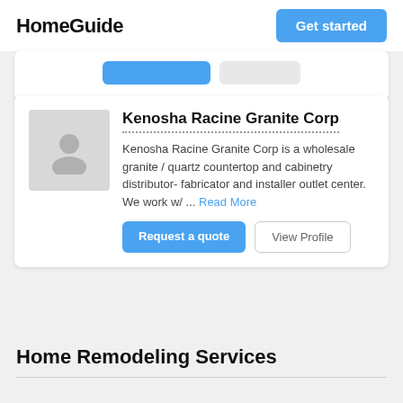HomeGuide
Get started
[Figure (screenshot): Partial card with two buttons (blue and gray), cropped at top]
Kenosha Racine Granite Corp
Kenosha Racine Granite Corp is a wholesale granite / quartz countertop and cabinetry distributor- fabricator and installer outlet center. We work w/ ... Read More
Request a quote
View Profile
Home Remodeling Services